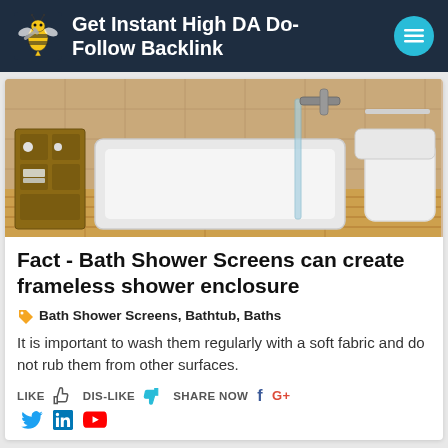Get Instant High DA Do-Follow Backlink
[Figure (photo): Overhead view of a modern bathroom with a white bathtub, glass shower screen, wooden floor mat, wall-mounted toilet, and small storage shelving unit with towels and toiletries.]
Fact - Bath Shower Screens can create frameless shower enclosure
Bath Shower Screens, Bathtub, Baths
It is important to wash them regularly with a soft fabric and do not rub them from other surfaces.
LIKE  DIS-LIKE  SHARE NOW  f  G+  Twitter  in  YouTube